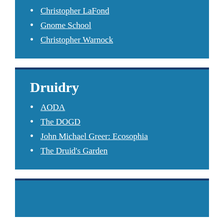Christopher LaFond
Gnome School
Christopher Warnock
Druidry
AODA
The DOGD
John Michael Greer: Ecosophia
The Druid's Garden